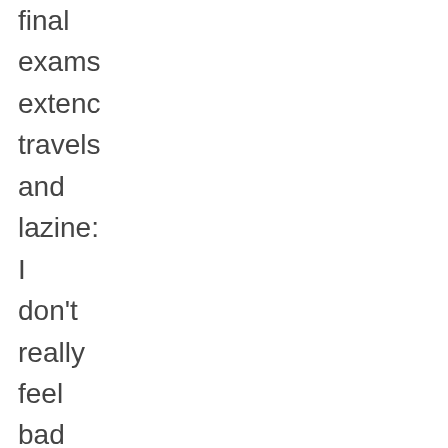final exams extenc travels and laziness I don't really feel bad about it, though I mean, I post at a YA blog. It's not like I